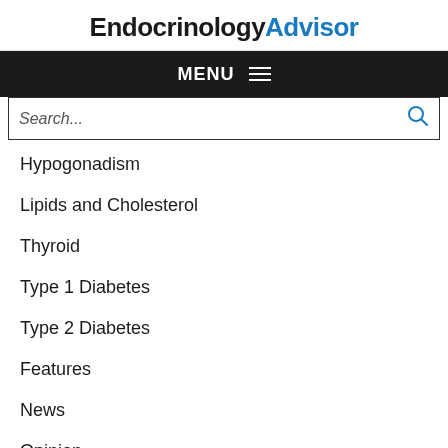EndocrinologyAdvisor
MENU
Search...
Hypogonadism
Lipids and Cholesterol
Thyroid
Type 1 Diabetes
Type 2 Diabetes
Features
News
Opinion